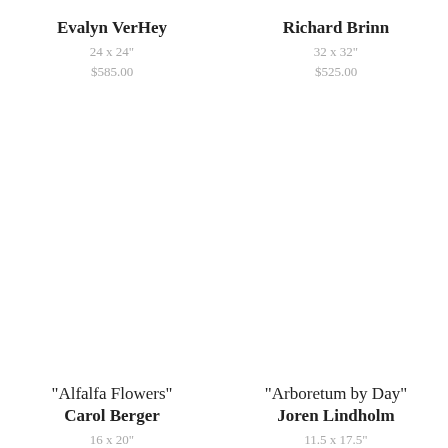Evalyn VerHey
24 x 24"
$585.00
Richard Brinn
32 x 32"
$525.00
“Alfalfa Flowers”
Carol Berger
16 x 20"
“Arboretum by Day”
Joren Lindholm
11.5 x 17.5"